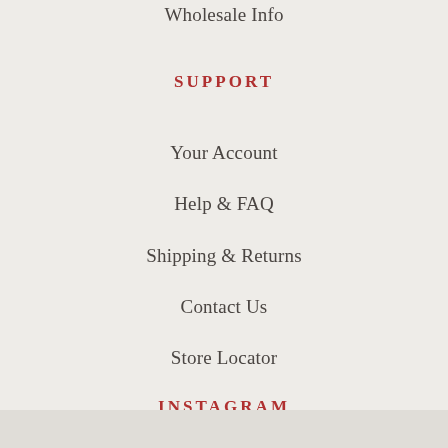Wholesale Info
SUPPORT
Your Account
Help & FAQ
Shipping & Returns
Contact Us
Store Locator
INSTAGRAM
NEWSLETTER